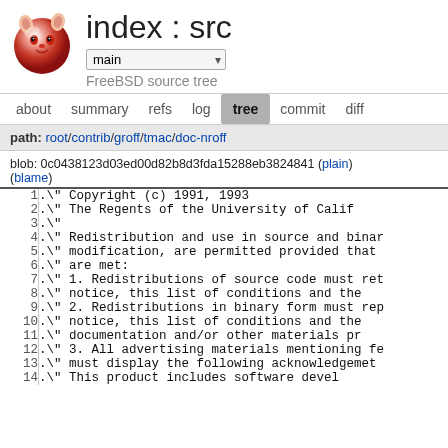[Figure (logo): FreeBSD logo - red and white daemon head on glossy sphere]
index : src
FreeBSD source tree
about   summary   refs   log   tree   commit   diff
path: root/contrib/groff/tmac/doc-nroff
blob: 0c0438123d03ed00d82b8d3fda15288eb3824841 (plain)
(blame)
| line | code |
| --- | --- |
| 1 | .\" Copyright (c) 1991, 1993 |
| 2 | .\"      The Regents of the University of Calif |
| 3 | .\" |
| 4 | .\" Redistribution and use in source and binar |
| 5 | .\" modification, are permitted provided that |
| 6 | .\" are met: |
| 7 | .\" 1. Redistributions of source code must ret |
| 8 | .\"      notice, this list of conditions and the |
| 9 | .\" 2. Redistributions in binary form must rep |
| 10 | .\"      notice, this list of conditions and the |
| 11 | .\"      documentation and/or other materials pr |
| 12 | .\" 3. All advertising materials mentioning fe |
| 13 | .\"      must display the following acknowledgemet |
| 14 | .\"      This product includes software devel |